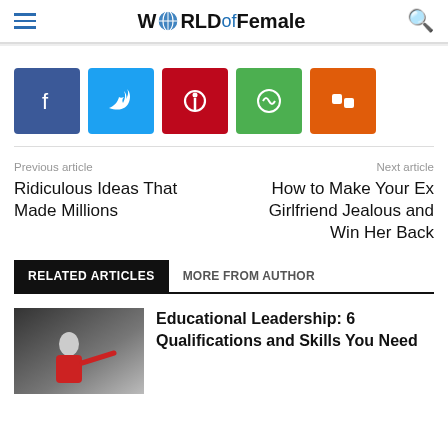W🌐RLD of Female
[Figure (other): Social share buttons: Facebook, Twitter, Pinterest, WhatsApp, Mix]
Previous article
Ridiculous Ideas That Made Millions
Next article
How to Make Your Ex Girlfriend Jealous and Win Her Back
RELATED ARTICLES   MORE FROM AUTHOR
[Figure (photo): Thumbnail image of a person in red top pointing at a board]
Educational Leadership: 6 Qualifications and Skills You Need